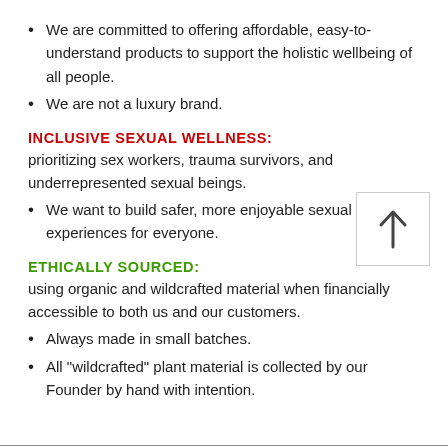We are committed to offering affordable, easy-to-understand products to support the holistic wellbeing of all people.
We are not a luxury brand.
INCLUSIVE SEXUAL WELLNESS:
prioritizing sex workers, trauma survivors, and underrepresented sexual beings.
We want to build safer, more enjoyable sexual experiences for everyone.
ETHICALLY SOURCED:
using organic and wildcrafted material when financially accessible to both us and our customers.
Always made in small batches.
All "wildcrafted" plant material is collected by our Founder by hand with intention.